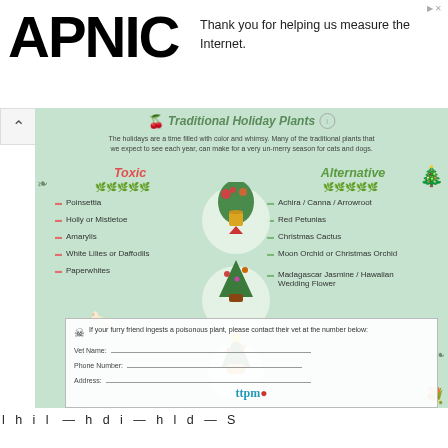[Figure (logo): APNIC logo in bold black text]
Thank you for helping us measure the Internet.
[Figure (infographic): Traditional Holiday Plants infographic showing toxic vs alternative plants for pets, with illustrated holiday plants in the center]
Traditional Holiday Plants
The holidays are a time filled with color and whimsy. Many of the traditional plants that we expect to see each year, can make for a very un-merry season for cats and dogs.
Toxic
Alternative
Poinsettia
Holly or Mistletoe
Amarylis
White Lilies or Daffodils
Paperwhites
Achira / Canna / Arrowroot
Red Petunias
Christmas Cactus
Moon Orchid or Christmas Orchid
Madagascar Jasmine / Hawaiian Wedding Flower
If your furry friend ingests a poisonous plant, please contact their vet at the number below:
Vet Name:
Phone Number:
Address:
[Figure (logo): ttpm logo in teal/blue text]